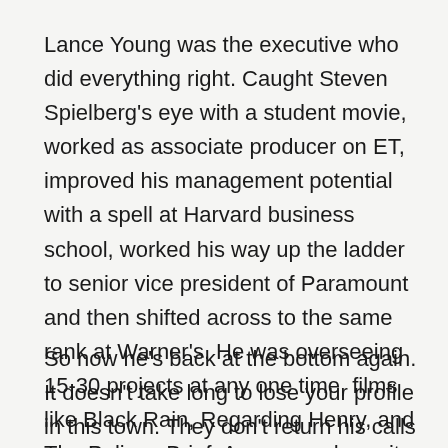Lance Young was the executive who did everything right. Caught Steven Spielberg's eye with a student movie, worked as associate producer on ET, improved his management potential with a spell at Harvard business school, worked his way up the ladder to senior vice president of Paramount and then shifted across to the same rank at Warner's. He was overseeing 15-30 projects at any one time, films like Black Rain, Regarding Henry, and The Pelican Brief. A year ago he quit, by mutual agreement. He was 33.
So now he's back at the bottom again. It doesn't take long to lose your profile in this town. They don't return his calls as fast but at least he's not going crazy with